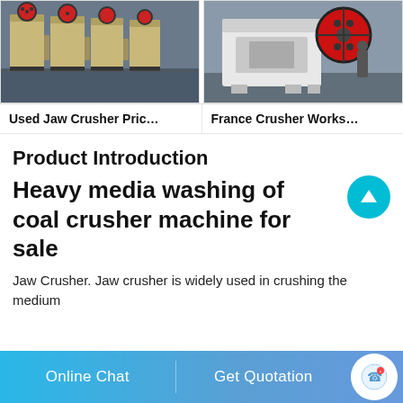[Figure (photo): Row of industrial jaw crusher machines in a factory/warehouse setting, beige/cream colored with red flywheels]
[Figure (photo): White and red heavy industrial crusher machine in a factory, large red flywheel visible]
Used Jaw Crusher Pric…
France Crusher Works…
Product Introduction
Heavy media washing of coal crusher machine for sale
Jaw Crusher. Jaw crusher is widely used in crushing the medium